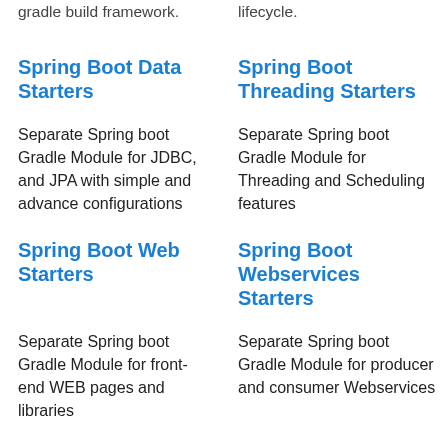gradle build framework.
lifecycle.
Spring Boot Data Starters
Spring Boot Threading Starters
Separate Spring boot Gradle Module for JDBC, and JPA with simple and advance configurations
Separate Spring boot Gradle Module for Threading and Scheduling features
Spring Boot Web Starters
Spring Boot Webservices Starters
Separate Spring boot Gradle Module for front-end WEB pages and libraries
Separate Spring boot Gradle Module for producer and consumer Webservices